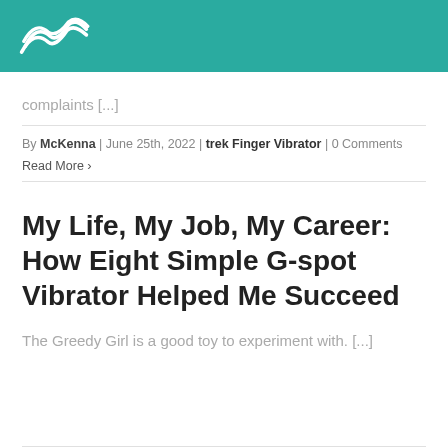[Figure (logo): Teal header bar with white wave/swirl logo mark]
complaints [...]
By McKenna | June 25th, 2022 | trek Finger Vibrator | 0 Comments
Read More >
My Life, My Job, My Career: How Eight Simple G-spot Vibrator Helped Me Succeed
The Greedy Girl is a good toy to experiment with. [...]